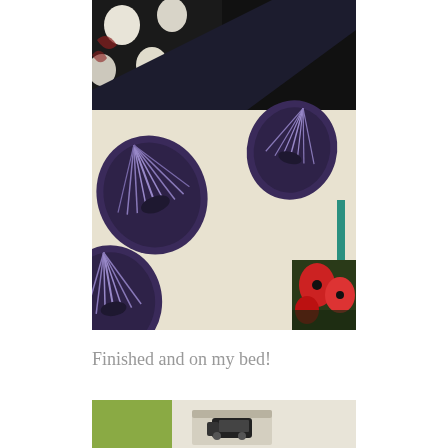[Figure (photo): Close-up photo of fabric/textiles including a dark navy fabric with a seashell/scallop shell pattern in purple and white, layered with other fabrics including one with polka dots and one with floral/red poppy pattern and a teal edge visible]
Finished and on my bed!
[Figure (photo): Partial photo of a bed with bedding/quilt visible, showing green cactus pattern and a black and white train or similar item, partially cropped at bottom of page]